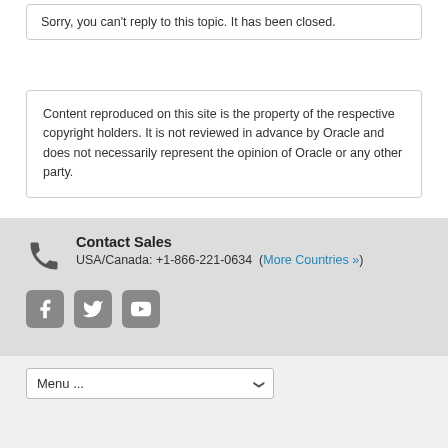Sorry, you can't reply to this topic. It has been closed.
Content reproduced on this site is the property of the respective copyright holders. It is not reviewed in advance by Oracle and does not necessarily represent the opinion of Oracle or any other party.
Contact Sales
USA/Canada: +1-866-221-0634 (More Countries »)
[Figure (other): Social media icons: Facebook, Twitter, YouTube]
Menu ...
ORACLE © 2022 Oracle